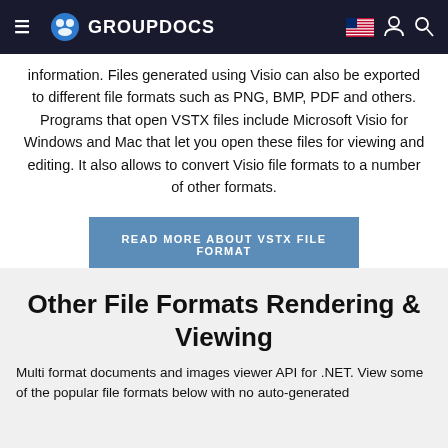GROUPDOCS
information. Files generated using Visio can also be exported to different file formats such as PNG, BMP, PDF and others. Programs that open VSTX files include Microsoft Visio for Windows and Mac that let you open these files for viewing and editing. It also allows to convert Visio file formats to a number of other formats.
READ MORE ABOUT VSTX FILE FORMAT
Other File Formats Rendering & Viewing
Multi format documents and images viewer API for .NET. View some of the popular file formats below with no auto-generated